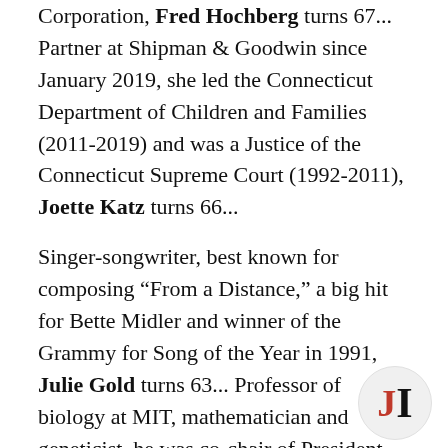Corporation, Fred Hochberg turns 67... Partner at Shipman & Goodwin since January 2019, she led the Connecticut Department of Children and Families (2011-2019) and was a Justice of the Connecticut Supreme Court (1992-2011), Joette Katz turns 66...
Singer-songwriter, best known for composing "From a Distance," a big hit for Bette Midler and winner of the Grammy for Song of the Year in 1991, Julie Gold turns 63... Professor of biology at MIT, mathematician and geneticist, he was co-chair of President Obama's Council of Advisors on Science and Technology, Eric Lander turns 62... Former investment adviser at Morgan Stanley, Steven F. Schlafer turns 60... Founder of Fourth Factor Consulting, Joel Mowbray turns... Speechwriter and adviser to Christine Lagarde, the
[Figure (logo): JI logo in a light gray circle, J in red and I in black]